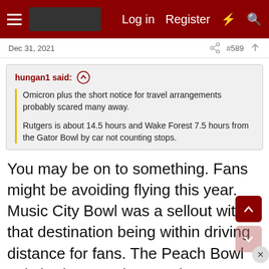Log in  Register
Dec 31, 2021  #589
hungan1 said:
Omicron plus the short notice for travel arrangements probably scared many away.

Rutgers is about 14.5 hours and Wake Forest 7.5 hours from the Gator Bowl by car not counting stops.
You may be on to something. Fans might be avoiding flying this year. Music City Bowl was a sellout with that destination being within driving distance for fans. The Peach Bowl only had 41,000 in attendance, worst since 1990 (not including last year's game). This bowl usually draws crowds of 70,000+